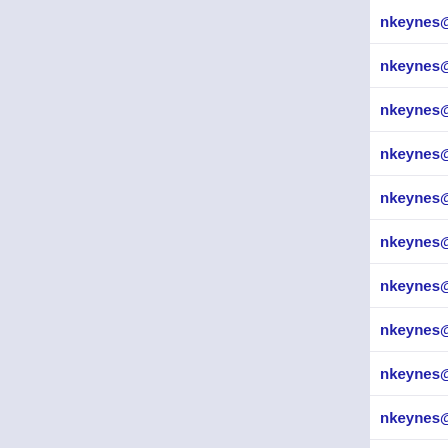nkeynes@359  19 #include <stdlib.h>
nkeynes@359  20 #include <stdio.h>
nkeynes@359  21 #include <string.h>
nkeynes@359  22 #include <ctype.h>
nkeynes@359  23 #include "tools/ge
nkeynes@359  24
nkeynes@359  25 #define CONSUME_CH
nkeynes@359  26 static int yyline;
nkeynes@359  27
nkeynes@359  28 struct rule *new_r
nkeynes@359  29     struct rule *r